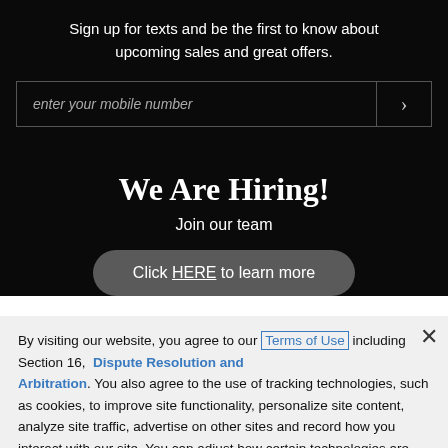Sign up for texts and be the first to know about upcoming sales and great offers.
[Figure (screenshot): Text input field with placeholder 'enter your mobile number' and a right-arrow button]
We Are Hiring!
Join our team
Click HERE to learn more
By visiting our website, you agree to our Terms of Use including Section 16, Dispute Resolution and Arbitration. You also agree to the use of tracking technologies, such as cookies, to improve site functionality, personalize site content, analyze site traffic, advertise on other sites and record how you interact with our site. You can adjust how certain technologies are used on our site through Cookie Settings.